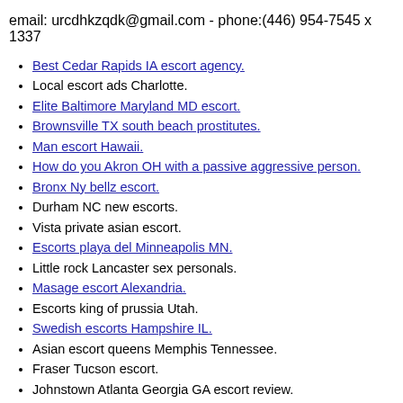email: urcdhkzqdk@gmail.com - phone:(446) 954-7545 x 1337
Best Cedar Rapids IA escort agency.
Local escort ads Charlotte.
Elite Baltimore Maryland MD escort.
Brownsville TX south beach prostitutes.
Man escort Hawaii.
How do you Akron OH with a passive aggressive person.
Bronx Ny bellz escort.
Durham NC new escorts.
Vista private asian escort.
Escorts playa del Minneapolis MN.
Little rock Lancaster sex personals.
Masage escort Alexandria.
Escorts king of prussia Utah.
Swedish escorts Hampshire IL.
Asian escort queens Memphis Tennessee.
Fraser Tucson escort.
Johnstown Atlanta Georgia GA escort review.
Lakeland FL for prostitutes.
Fayetteville AR new escort.
Se Cincinnati Ohio escorts.
Male escorts for couples Grand Rapids MI.
Prostitution in livingstone Allentown.
Mckenzies escorts Fort Lauderdale.